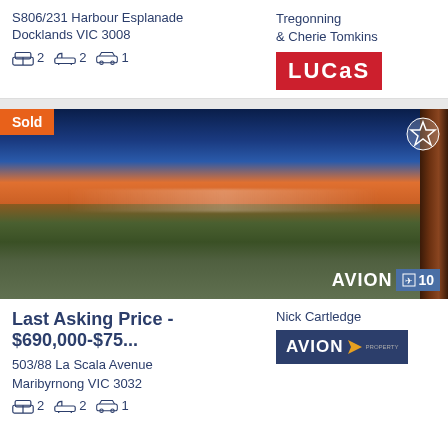S806/231 Harbour Esplanade
Docklands VIC 3008
2 bed  2 bath  1 car
Tregonning
& Cherie Tomkins
[Figure (logo): LUCAS real estate logo — red background, white bold text]
[Figure (photo): Aerial/elevated cityscape photo of Melbourne suburbs at dusk with city skyline in background. 'Sold' badge top-left, star icon top-right, AVION watermark with number 10 bottom-right.]
Last Asking Price - $690,000-$75...
503/88 La Scala Avenue
Maribyrnong VIC 3032
2 bed  2 bath  1 car
Nick Cartledge
[Figure (logo): AVION real estate logo — dark navy background, white bold text with orange arrow]